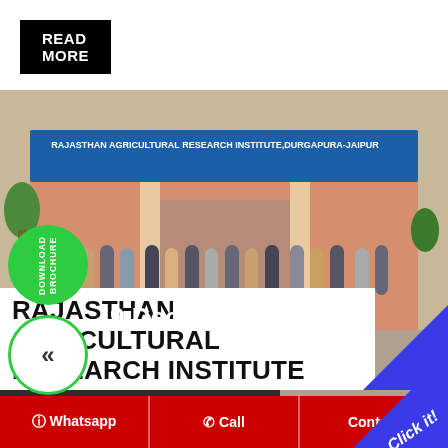READ MORE
[Figure (photo): Group photo of students in front of Rajasthan Agricultural Research Institute, Durgapura-Jaipur building with blue signboard.]
9 Dec
RAJASTHAN AGRICULTURAL RESEARCH INSTITUTE
Whatsapp | Call | Contact